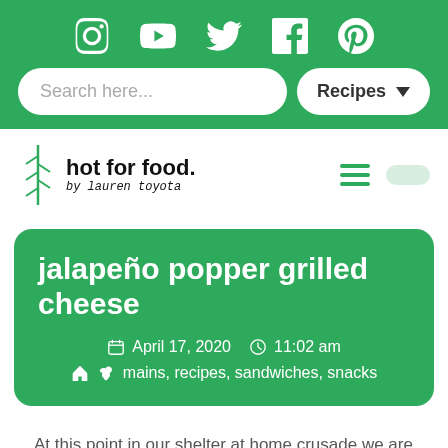[Figure (screenshot): Green top navigation bar with social media icons: Instagram, YouTube, Twitter, Facebook, Pinterest]
[Figure (screenshot): Search bar with 'Search here...' placeholder and 'Recipes' dropdown button on green background]
[Figure (logo): hot for food by lauren toyota logo with plant illustration]
jalapeño popper grilled cheese
April 17, 2020   11:02 am
mains, recipes, sandwiches, snacks
At this point in our shelter at home crusade we are SO ready for the ultimate comfort food! If you